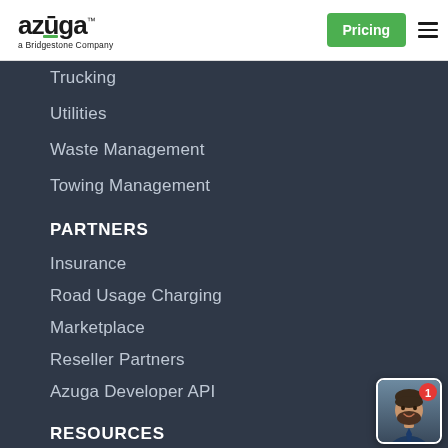[Figure (logo): Azuga logo - a Bridgestone Company, with green bar over the u character]
Pricing
Trucking
Utilities
Waste Management
Towing Management
PARTNERS
Insurance
Road Usage Charging
Marketplace
Reseller Partners
Azuga Developer API
RESOURCES
Blog
[Figure (photo): Chat widget showing a smiling bearded man in a suit with a red notification badge showing 1]